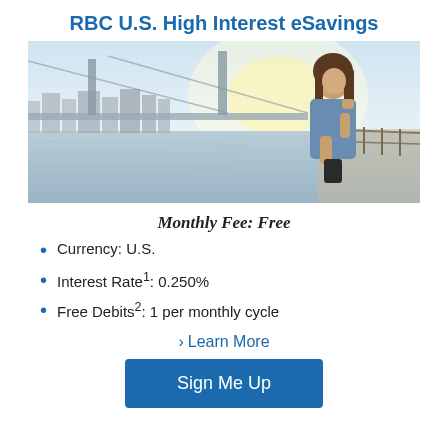RBC U.S. High Interest eSavings
[Figure (photo): Woman standing on a waterfront promenade looking at her smartphone, with a large suspension bridge and city skyline in the background.]
Monthly Fee: Free
Currency: U.S.
Interest Rate¹: 0.250%
Free Debits²: 1 per monthly cycle
› Learn More
Sign Me Up